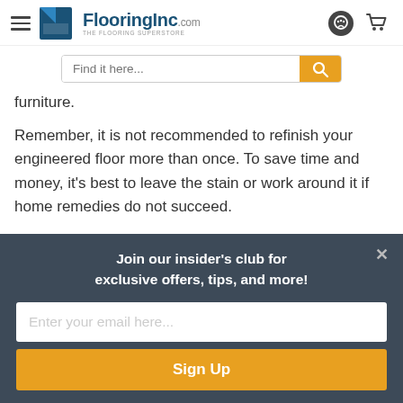FlooringInc.com — The Flooring Superstore
furniture.
Remember, it is not recommended to refinish your engineered floor more than once. To save time and money, it's best to leave the stain or work around it if home remedies do not succeed.
Join our insider's club for exclusive offers, tips, and more!
Enter your email here...
Sign Up